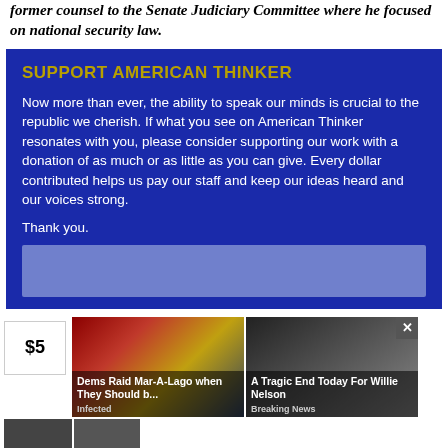former counsel to the Senate Judiciary Committee where he focused on national security law.
SUPPORT AMERICAN THINKER
Now more than ever, the ability to speak our minds is crucial to the republic we cherish. If what you see on American Thinker resonates with you, please consider supporting our work with a donation of as much or as little as you can give. Every dollar contributed helps us pay our staff and keep our ideas heard and our voices strong.
Thank you.
[Figure (screenshot): Donation input area (greyed out input box)]
$5
[Figure (photo): Ad: Dems Raid Mar-A-Lago when They Should b... — Infected]
[Figure (photo): Ad: A Tragic End Today For Willie Nelson — Breaking News]